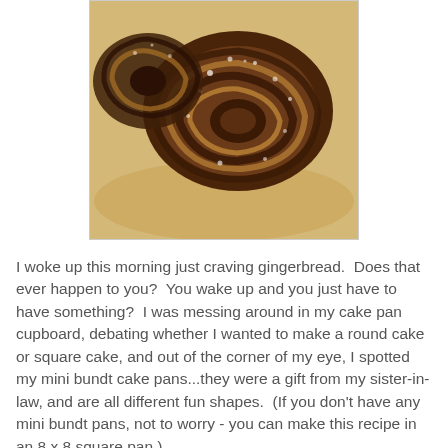[Figure (photo): Photo of mini gingerbread bundt cakes with swirled pattern and powdered sugar on top, viewed from above on a light background]
I woke up this morning just craving gingerbread.  Does that ever happen to you?  You wake up and you just have to have something?  I was messing around in my cake pan cupboard, debating whether I wanted to make a round cake or square cake, and out of the corner of my eye, I spotted my mini bundt cake pans...they were a gift from my sister-in-law, and are all different fun shapes.  (If you don't have any mini bundt pans, not to worry - you can make this recipe in an 8 x 8 square pan.)
This recipe is one of my great-aunt Helen's...when my mother passed away several years ago, I inherited her recipe box, which is filled with recipes from her mother and